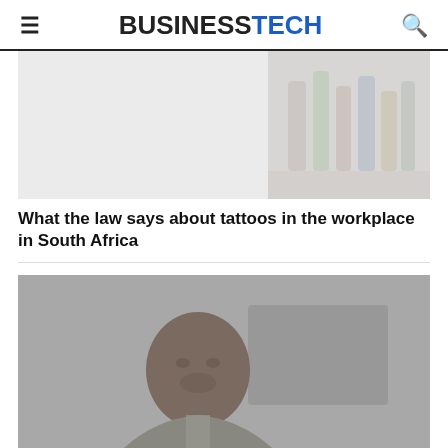BUSINESSTECH
[Figure (photo): Blurred image of colored bottles in an office/workplace setting]
What the law says about tattoos in the workplace in South Africa
[Figure (photo): Photo of a man (likely Cyril Ramaphosa) at a podium or desk in a grey-toned setting]
3 new laws to keep your eye on in South Africa right now